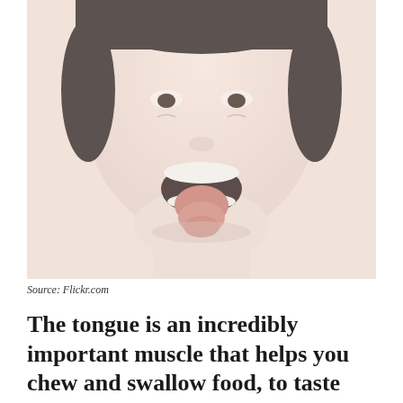[Figure (photo): Close-up photo of a person sticking out their tongue, shown from the chin up, with a faded pinkish-beige tone]
Source: Flickr.com
The tongue is an incredibly important muscle that helps you chew and swallow food, to taste (tongue has about 9000 of taste buds at average) and talk. But your tongue can do much more for you than you thought. For